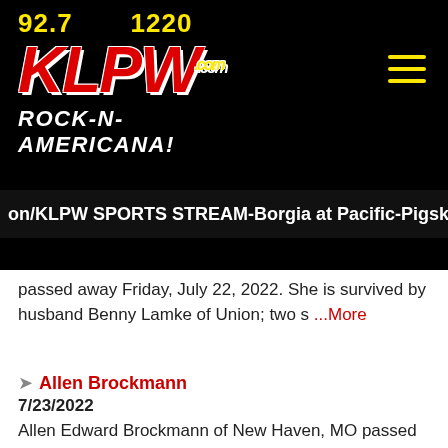[Figure (logo): KLPW Radio station logo with frequencies 92.7 and 1220, tagline ROCK-N-AMERICANA!]
on/KLPW SPORTS STREAM-Borgia at Pacific-Pigsk
passed away Friday, July 22, 2022. She is survived by husband Benny Lamke of Union; two s ...More
Allen Brockmann
7/23/2022
Allen Edward Brockmann of New Haven, MO passed away Saturday, July 16, 2022. He is survived by one s Buckley Brockmann and wife Gretchen of Greeny M